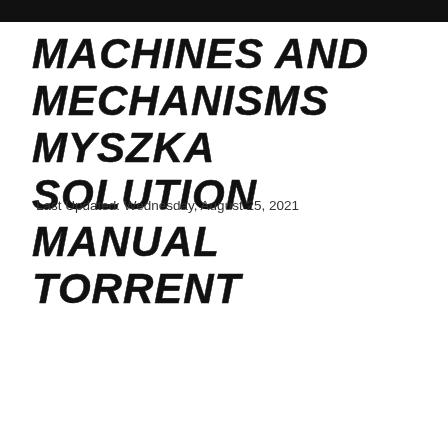MACHINES AND MECHANISMS MYSZKA SOLUTION MANUAL TORRENT
Last Updated: Wednesday, August 25, 2021